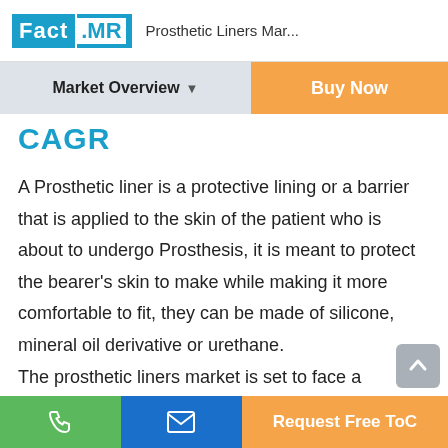Fact.MR  Prosthetic Liners Mar...
Market Overview ▼
Buy Now
CAGR
A Prosthetic liner is a protective lining or a barrier that is applied to the skin of the patient who is about to undergo Prosthesis, it is meant to protect the bearer's skin to make while making it more comfortable to fit, they can be made of silicone, mineral oil derivative or urethane.
The prosthetic liners market is set to face a stable growth initially in a short time manner but will have
Request Free ToC